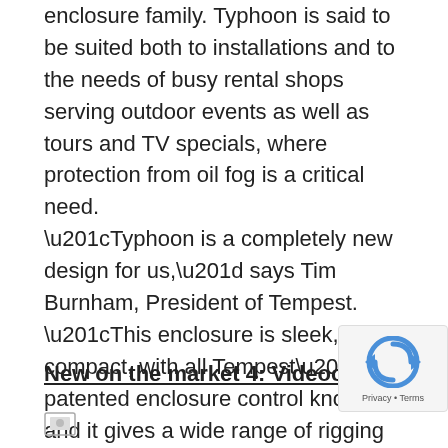Tempest has introduced the Typhoon outdoor enclosure family. Typhoon is said to be suited both to installations and to the needs of busy rental shops serving outdoor events as well as tours and TV specials, where protection from oil fog is a critical need. “Typhoon is a completely new design for us,” says Tim Burnham, President of Tempest. “This enclosure is sleek, compact, with all Tempest’s patented enclosure control knowhow, and it gives a wide range of rigging and installation options without customisation. So a rental shop could be using Typhoon one week at a desert festival in landscape mode and the next on a TV special set up as portrait – easy!”
New on the market 4: Videoconference trolley
[Figure (other): Small image thumbnail icon at bottom left]